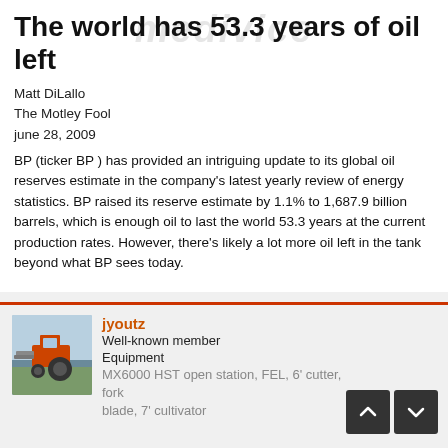The world has 53.3 years of oil left
Matt DiLallo
The Motley Fool
june 28, 2009
BP (ticker BP ) has provided an intriguing update to its global oil reserves estimate in the company's latest yearly review of energy statistics. BP raised its reserve estimate by 1.1% to 1,687.9 billion barrels, which is enough oil to last the world 53.3 years at the current production rates. However, there's likely a lot more oil left in the tank beyond what BP sees today.
jyoutz
Well-known member
Equipment
MX6000 HST open station, FEL, 6' cutter, fork, blade, 7' cultivator
[Figure (photo): Small avatar photo of a tractor (orange/red) outdoors]